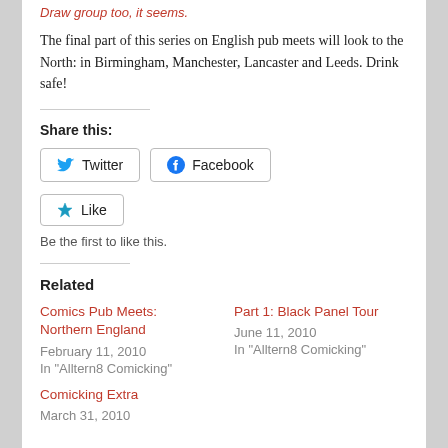Draw group too, it seems.
The final part of this series on English pub meets will look to the North: in Birmingham, Manchester, Lancaster and Leeds. Drink safe!
Share this:
Twitter
Facebook
Like
Be the first to like this.
Related
Comics Pub Meets: Northern England
February 11, 2010
In "Alltern8 Comicking"
Part 1: Black Panel Tour
June 11, 2010
In "Alltern8 Comicking"
Comicking Extra
March 31, 2010